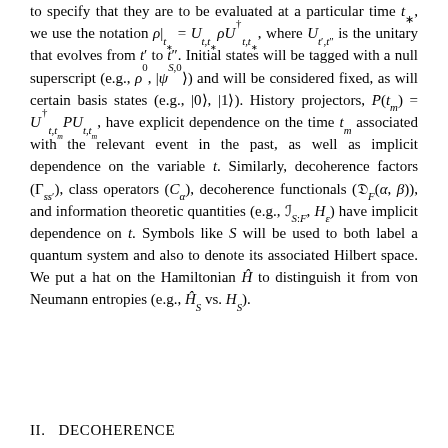to specify that they are to be evaluated at a particular time t_*, we use the notation ρ|_{t_*} = U_{t,t_*} ρ U^†_{t,t_*}, where U_{t',t''} is the unitary that evolves from t' to t''. Initial states will be tagged with a null superscript (e.g., ρ^0, |ψ^{S,0}⟩) and will be considered fixed, as will certain basis states (e.g., |0⟩, |1⟩). History projectors, P(t_m) = U^†_{t,t_m} P U_{t,t_m}, have explicit dependence on the time t_m associated with the relevant event in the past, as well as implicit dependence on the variable t. Similarly, decoherence factors (Γ_{ss'}), class operators (C_α), decoherence functionals (𝔇_F(α, β)), and information theoretic quantities (e.g., ℐ_{S:F}, H_ε) have implicit dependence on t. Symbols like S will be used to both label a quantum system and also to denote its associated Hilbert space. We put a hat on the Hamiltonian Ĥ to distinguish it from von Neumann entropies (e.g., Ĥ_S vs. H_S).
II. DECOHERENCE